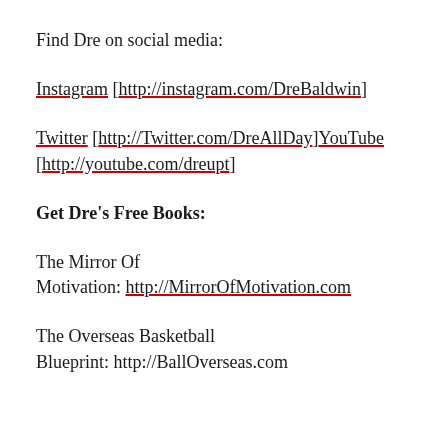Find Dre on social media:
Instagram [http://instagram.com/DreBaldwin]
Twitter [http://Twitter.com/DreAllDay]YouTube [http://youtube.com/dreupt]
Get Dre's Free Books:
The Mirror Of Motivation: http://MirrorOfMotivation.com
The Overseas Basketball Blueprint: http://BallOverseas.com